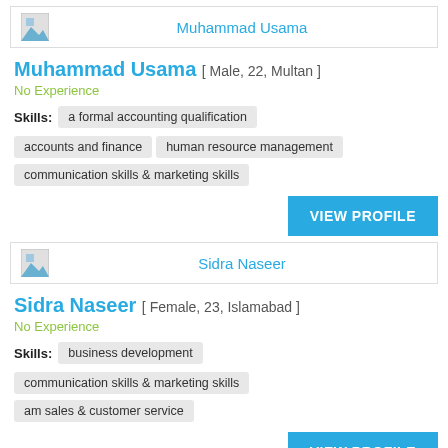[Figure (other): Profile header card with placeholder image icon and name Muhammad Usama]
Muhammad Usama [ Male, 22, Multan ]
No Experience
Skills: a formal accounting qualification | accounts and finance | human resource management | communication skills & marketing skills
VIEW PROFILE
[Figure (other): Profile header card with placeholder image icon and name Sidra Naseer]
Sidra Naseer [ Female, 23, Islamabad ]
No Experience
Skills: business development | communication skills & marketing skills | am sales & customer service
VIEW PROFILE
[Figure (other): Profile header card with placeholder image icon and name Danish Ahmed]